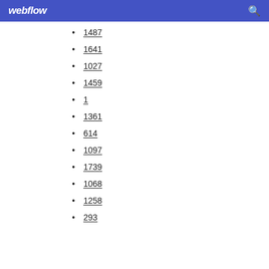webflow
1487
1641
1027
1459
1
1361
614
1097
1739
1068
1258
293